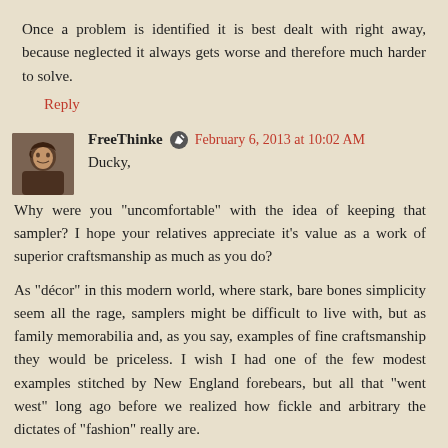Once a problem is identified it is best dealt with right away, because neglected it always gets worse and therefore much harder to solve.
Reply
FreeThinke  February 6, 2013 at 10:02 AM
Ducky,
Why were you "uncomfortable" with the idea of keeping that sampler? I hope your relatives appreciate it's value as a work of superior craftsmanship as much as you do?
As "décor" in this modern world, where stark, bare bones simplicity seem all the rage, samplers might be difficult to live with, but as family memorabilia and, as you say, examples of fine craftsmanship they would be priceless. I wish I had one of the few modest examples stitched by New England forebears, but all that "went west" long ago before we realized how fickle and arbitrary the dictates of "fashion" really are.